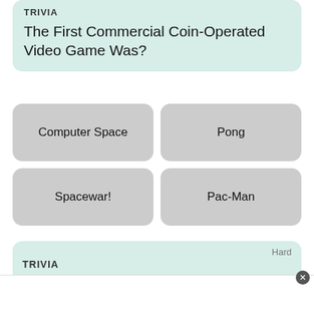TRIVIA
The First Commercial Coin-Operated Video Game Was?
Computer Space
Pong
Spacewar!
Pac-Man
Hard
TRIVIA